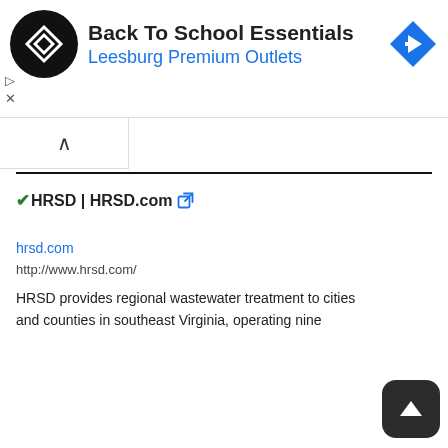[Figure (other): Advertisement banner: black circular logo with diamond shape icon, text 'Back To School Essentials' and 'Leesburg Premium Outlets' in blue, blue diamond navigation icon on right]
✓HRSD | HRSD.com (external link icon)
hrsd.com
http://www.hrsd.com/
HRSD provides regional wastewater treatment to cities and counties in southeast Virginia, operating nine